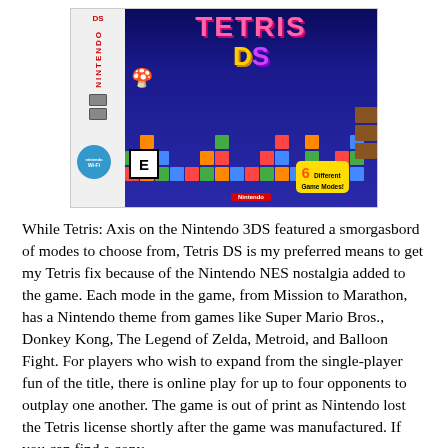[Figure (photo): Tetris DS Nintendo DS game box art showing colorful Tetris blocks, the Tetris DS logo in pink and yellow/purple letters, Nintendo Wi-Fi badge, ESRB E rating, '6 Different Game Modes!' badge, and Nintendo branding on the left spine.]
While Tetris: Axis on the Nintendo 3DS featured a smorgasbord of modes to choose from, Tetris DS is my preferred means to get my Tetris fix because of the Nintendo NES nostalgia added to the game. Each mode in the game, from Mission to Marathon, has a Nintendo theme from games like Super Mario Bros., Donkey Kong, The Legend of Zelda, Metroid, and Balloon Fight. For players who wish to expand from the single-player fun of the title, there is online play for up to four opponents to outplay one another. The game is out of print as Nintendo lost the Tetris license shortly after the game was manufactured. If you can find a copy